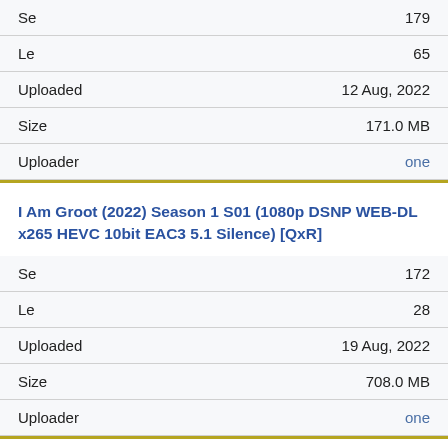| Field | Value |
| --- | --- |
| Se | 179 |
| Le | 65 |
| Uploaded | 12 Aug, 2022 |
| Size | 171.0 MB |
| Uploader | one |
I Am Groot (2022) Season 1 S01 (1080p DSNP WEB-DL x265 HEVC 10bit EAC3 5.1 Silence) [QxR]
| Field | Value |
| --- | --- |
| Se | 172 |
| Le | 28 |
| Uploaded | 19 Aug, 2022 |
| Size | 708.0 MB |
| Uploader | one |
AEW Rampage 2022 08 12 TNT 1080p WEB h264-HEEL [TJET]